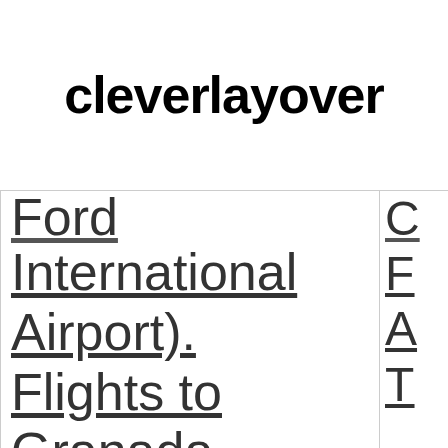cleverlayover
Ford International Airport). Flights to Granada, Spain (GRX-Granada)